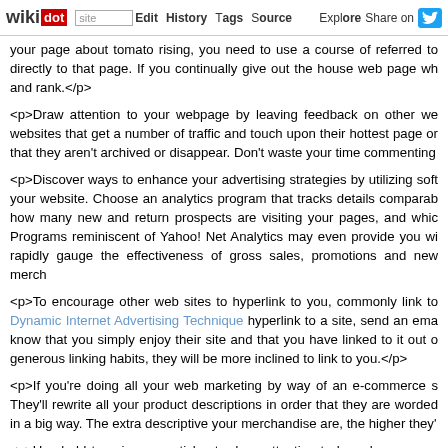wikidot | site Edit History Tags Source Explore Share on
your page about tomato rising, you need to use a course of referred to directly to that page. If you continually give out the house web page wh and rank.</p>
<p>Draw attention to your webpage by leaving feedback on other we websites that get a number of traffic and touch upon their hottest page or that they aren't archived or disappear. Don't waste your time commenting
<p>Discover ways to enhance your advertising strategies by utilizing soft your website. Choose an analytics program that tracks details comparab how many new and return prospects are visiting your pages, and whic Programs reminiscent of Yahoo! Net Analytics may even provide you wi rapidly gauge the effectiveness of gross sales, promotions and new merc
<p>To encourage other web sites to hyperlink to you, commonly link to Dynamic Internet Advertising Technique hyperlink to a site, send an ema know that you simply enjoy their site and that you have linked to it out o generous linking habits, they will be more inclined to link to you.</p>
<p>If you're doing all your web marketing by way of an e-commerce s They'll rewrite all your product descriptions in order that they are worded in a big way. The extra descriptive your merchandise are, the higher they'
<p>Use bold tags in your articles to draw attention to key phrases or c content add emphasis, it improves the effectiveness of your article with r catch the eye and stick in the memory. Ideally, your bold key phrases ca or her read more closely.</p>
[[image    http://www.newdigitalnoise.com/wp-content/uplo